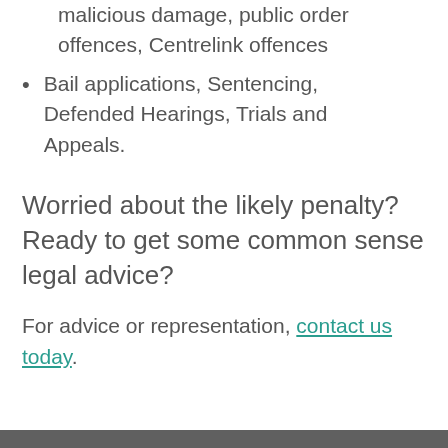malicious damage, public order offences, Centrelink offences
Bail applications, Sentencing, Defended Hearings, Trials and Appeals.
Worried about the likely penalty? Ready to get some common sense legal advice?
For advice or representation, contact us today.